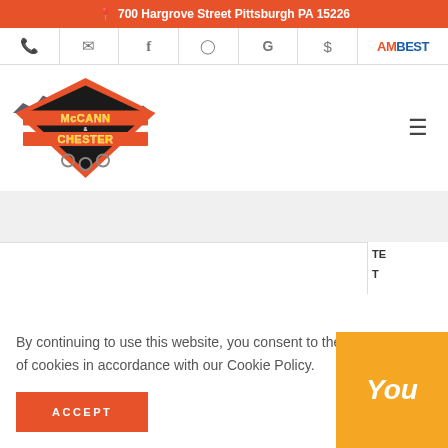700 Hargrove Street Pittsburgh PA 15226
[Figure (logo): Navigation icon bar with phone, email, Facebook, Instagram, Google, dollar sign icons, and AM BEST logo]
[Figure (logo): McCann Chester towing and recovery company logo with city skyline graphic]
By continuing to use this website, you consent to the use of cookies in accordance with our Cookie Policy.
ACCEPT
You